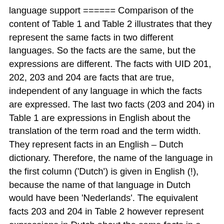language support ====== Comparison of the content of Table 1 and Table 2 illustrates that they represent the same facts in two different languages. So the facts are the same, but the expressions are different. The facts with UID 201, 202, 203 and 204 are facts that are true, independent of any language in which the facts are expressed. The last two facts (203 and 204) in Table 1 are expressions in English about the translation of the term road and the term width. They represent facts in an English – Dutch dictionary. Therefore, the name of the language in the first column ('Dutch') is given in English (!), because the name of that language in Dutch would have been 'Nederlands'. The equivalent facts 203 and 204 in Table 2 however represent expressions in Dutch about the same facts in a Dutch dictionary. They represent the facts as they appears in a Nederlands – Engels woordenboek (dictionary). Table 1 and Table 2 illustrate that the UID of a fact remains the same, even if the language for the expression changes. This means that a database that includes expressions in multiple languages